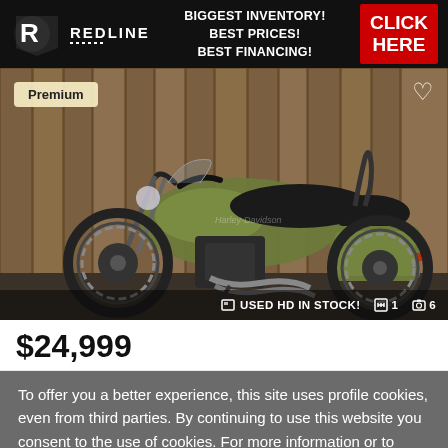[Figure (advertisement): Redline dealer banner ad: BIGGEST INVENTORY! BEST PRICES! BEST FINANCING! CLICK HERE]
[Figure (photo): Harley-Davidson Road King Special motorcycle in olive green/military color parked against wooden fence. Premium badge top-left, heart icon top-right. Footer: USED HD IN STOCK! with video and photo count icons showing 1 and 6.]
$24,999
To offer you a better experience, this site uses profile cookies, even from third parties. By continuing to use this website you consent to the use of cookies. For more information or to select your preferences consult our Privacy Policy